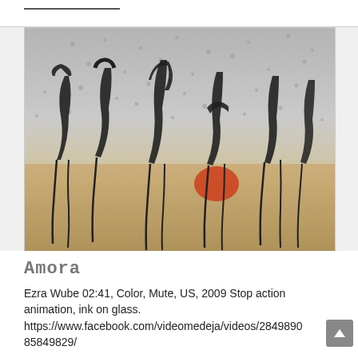[Figure (photo): Close-up photograph of dark ink letters/figures painted on a wet glass surface, with water droplets and streaks of black ink dripping down. Background shows blurred urban scene with yellow and red colors visible through the glass.]
Amora
Ezra Wube 02:41, Color, Mute, US, 2009 Stop action animation, ink on glass. https://www.facebook.com/videomedeja/videos/284989085849829/